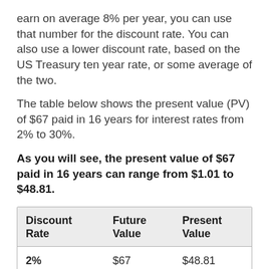earn on average 8% per year, you can use that number for the discount rate. You can also use a lower discount rate, based on the US Treasury ten year rate, or some average of the two.
The table below shows the present value (PV) of $67 paid in 16 years for interest rates from 2% to 30%.
As you will see, the present value of $67 paid in 16 years can range from $1.01 to $48.81.
| Discount Rate | Future Value | Present Value |
| --- | --- | --- |
| 2% | $67 | $48.81 |
| 3% | $67 | $41.75 |